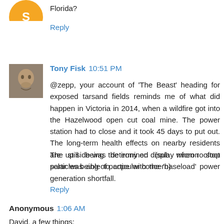[Figure (illustration): Partial orange circle avatar at top left, cropped by page edge]
Florida?
Reply
[Figure (photo): Small square avatar photo of Tony Fisk, appears to show a person or animal face]
Tony Fisk 10:51 PM
@zepp, your account of 'The Beast' heading for exposed tarsand fields reminds me of what did happen in Victoria in 2014, when a wildfire got into the Hazelwood open cut coal mine. The power station had to close and it took 45 days to put out. The long-term health effects on nearby residents are still being determined (sub micron soot particles being of particular concern)
The up side was the irony on display when rooftop solar was able to cope with the 'baseload' power generation shortfall.
Reply
Anonymous 1:06 AM
David, a few things: